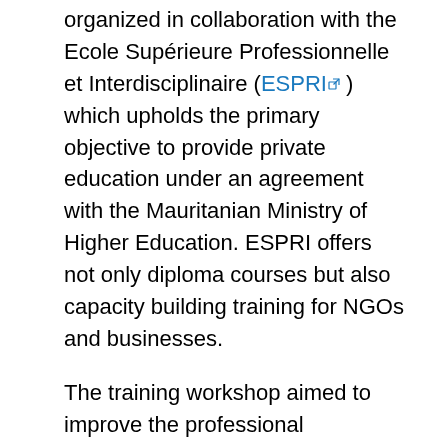organized in collaboration with the Ecole Supérieure Professionnelle et Interdisciplinaire (ESPRI ) which upholds the primary objective to provide private education under an agreement with the Mauritanian Ministry of Higher Education. ESPRI offers not only diploma courses but also capacity building training for NGOs and businesses.
The training workshop aimed to improve the professional capabilities in the preparation and appraisal of investment projects of the participants and was attended by several financial experts, economists and project managers from the Caisse de Dépôts et de Développement (CDD ). The programme comprised the analytical framework of UNIDO's methodology as well as hands-on training in